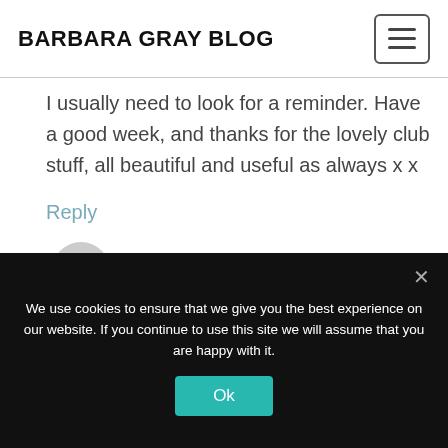BARBARA GRAY BLOG
I usually need to look for a reminder. Have a good week, and thanks for the lovely club stuff, all beautiful and useful as always x x
Reply
JackiecCou says:
We use cookies to ensure that we give you the best experience on our website. If you continue to use this site we will assume that you are happy with it.
Ok